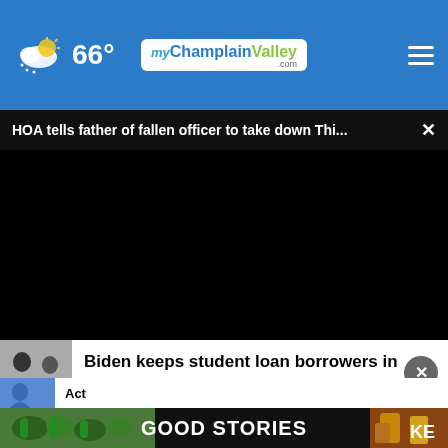66°  myChamplainValley.com
HOA tells father of fallen officer to take down Thi... ×
[Figure (screenshot): Black video player area]
Biden keeps student loan borrowers in suspense
[Figure (screenshot): GOOD STORIES advertisement banner with food images]